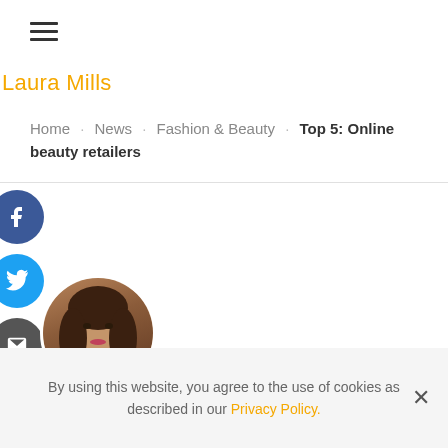[Figure (other): Hamburger menu icon with three horizontal lines]
Laura Mills
Home · News · Fashion & Beauty · Top 5: Online beauty retailers
[Figure (other): Facebook share button - blue circle with Facebook f icon]
[Figure (other): Twitter share button - light blue circle with Twitter bird icon]
[Figure (other): Email share button - dark grey circle with envelope icon]
[Figure (photo): Circular profile photo of a woman with dark hair]
23RD NOVEMBER 2015
By using this website, you agree to the use of cookies as described in our Privacy Policy.